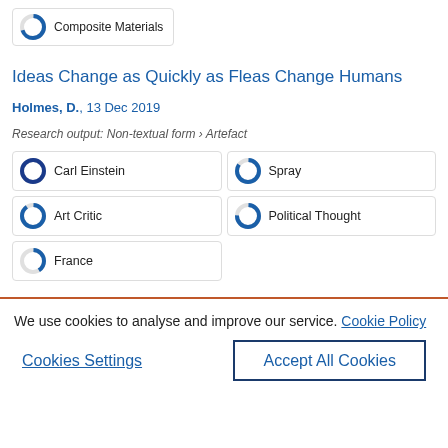[Figure (infographic): Donut/pie badge icon with label 'Composite Materials']
Ideas Change as Quickly as Fleas Change Humans
Holmes, D., 13 Dec 2019
Research output: Non-textual form › Artefact
[Figure (infographic): Keyword badges with donut icons: Carl Einstein, Spray, Art Critic, Political Thought, France]
We use cookies to analyse and improve our service. Cookie Policy
Cookies Settings
Accept All Cookies